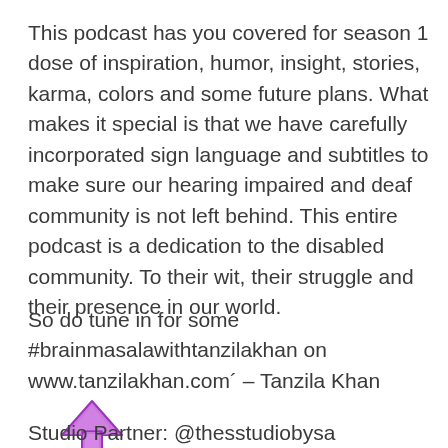This podcast has you covered for season 1 dose of inspiration, humor, insight, stories, karma, colors and some future plans. What makes it special is that we have carefully incorporated sign language and subtitles to make sure our hearing impaired and deaf community is not left behind. This entire podcast is a dedication to the disabled community. To their wit, their struggle and their presence in our world.
So do tune in for some #brainmasalawithtanzilakhan on www.tanzilakhan.com´ – Tanzila Khan
[Figure (illustration): Purple upward arrow emoji]
Studio Partner: @thesstudiobysa